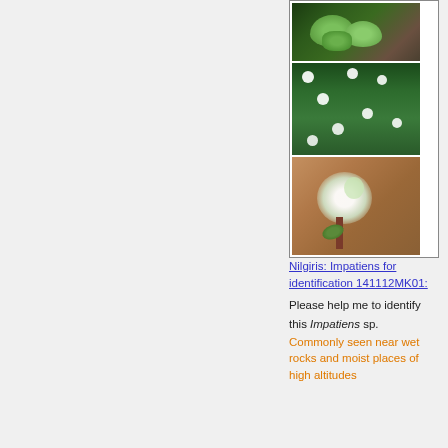[Figure (photo): Three stacked photographs of Impatiens plant: top photo shows leaves/foliage against rocky background, middle photo shows small white flowers with green leaves, bottom photo shows a single white flower close-up with reddish stem against brown/tan blurred background]
Nilgiris: Impatiens for identification 141112MK01: Please help me to identify this Impatiens sp. Commonly seen near wet rocks and moist places of high altitudes